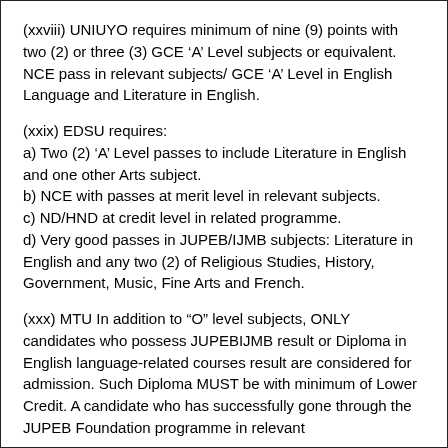(xxviii) UNIUYO requires minimum of nine (9) points with two (2) or three (3) GCE ‘A’ Level subjects or equivalent. NCE pass in relevant subjects/ GCE ‘A’ Level in English Language and Literature in English.
(xxix) EDSU requires: a) Two (2) ‘A’ Level passes to include Literature in English and one other Arts subject. b) NCE with passes at merit level in relevant subjects. c) ND/HND at credit level in related programme. d) Very good passes in JUPEB/IJMB subjects: Literature in English and any two (2) of Religious Studies, History, Government, Music, Fine Arts and French.
(xxx) MTU In addition to “O” level subjects, ONLY candidates who possess JUPEBIJMB result or Diploma in English language-related courses result are considered for admission. Such Diploma MUST be with minimum of Lower Credit. A candidate who has successfully gone through the JUPEB Foundation programme in relevant